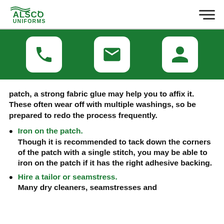ALSCO UNIFORMS
[Figure (infographic): Green bar with three white rounded-square icon buttons: phone, envelope/email, and person/account icons]
patch, a strong fabric glue may help you to affix it. These often wear off with multiple washings, so be prepared to redo the process frequently.
Iron on the patch. Though it is recommended to tack down the corners of the patch with a single stitch, you may be able to iron on the patch if it has the right adhesive backing.
Hire a tailor or seamstress. Many dry cleaners, seamstresses and